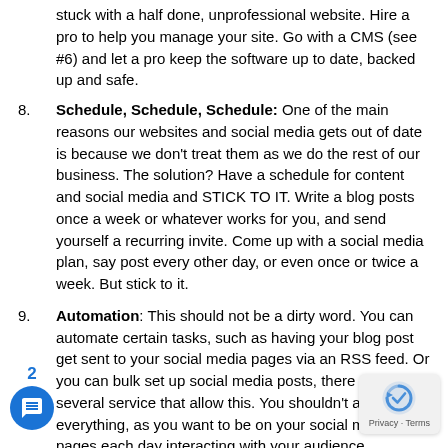stuck with a half done, unprofessional website. Hire a pro to help you manage your site. Go with a CMS (see #6) and let a pro keep the software up to date, backed up and safe.
8. Schedule, Schedule, Schedule: One of the main reasons our websites and social media gets out of date is because we don't treat them as we do the rest of our business. The solution? Have a schedule for content and social media and STICK TO IT. Write a blog posts once a week or whatever works for you, and send yourself a recurring invite. Come up with a social media plan, say post every other day, or even once or twice a week. But stick to it.
9. Automation: This should not be a dirty word. You can automate certain tasks, such as having your blog post get sent to your social media pages via an RSS feed. Or you can bulk set up social media posts, there are several service that allow this. You shouldn't automate everything, as you want to be on your social media pages each day interacting with your audience.
10. Security & Backups: One of the main things you